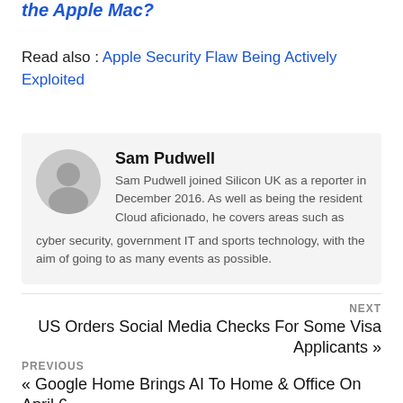the Apple Mac?
Read also : Apple Security Flaw Being Actively Exploited
Sam Pudwell
Sam Pudwell joined Silicon UK as a reporter in December 2016. As well as being the resident Cloud aficionado, he covers areas such as cyber security, government IT and sports technology, with the aim of going to as many events as possible.
NEXT
US Orders Social Media Checks For Some Visa Applicants »
PREVIOUS
« Google Home Brings AI To Home & Office On April 6